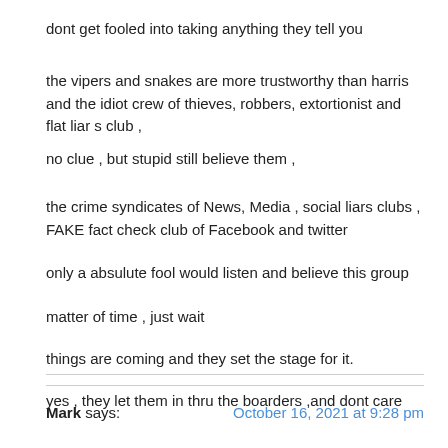dont get fooled into taking anything they tell you
the vipers and snakes are more trustworthy than harris and the idiot crew of thieves, robbers, extortionist and flat liar s club ,
no clue , but stupid still believe them ,
the crime syndicates of News, Media , social liars clubs , FAKE fact check club of Facebook and twitter
only a absulute fool would listen and believe this group
matter of time , just wait
things are coming and they set the stage for it.
yes , they let them in thru the boarders ,and dont care
Mark says:   October 16, 2021 at 9:28 pm